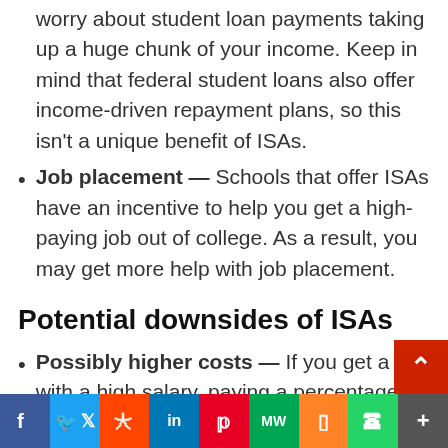worry about student loan payments taking up a huge chunk of your income. Keep in mind that federal student loans also offer income-driven repayment plans, so this isn't a unique benefit of ISAs.
Job placement — Schools that offer ISAs have an incentive to help you get a high-paying job out of college. As a result, you may get more help with job placement.
Potential downsides of ISAs
Possibly higher costs — If you get a job with a high salary, paying a percentage of your salary could mean you end up paying more with an ISA than you would by making traditional studen